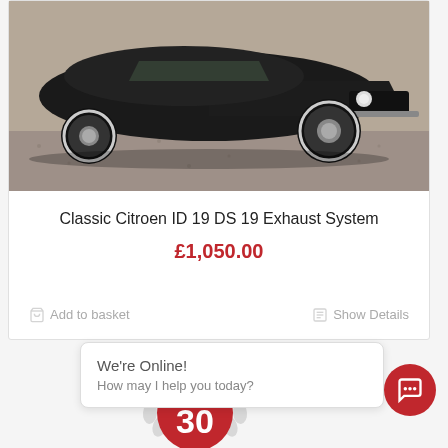[Figure (photo): Classic Citroen DS/ID 19 car photographed from front-right angle on gravel, black color, showing front wheel and distinctive body shape]
Classic Citroen ID 19 DS 19 Exhaust System
£1,050.00
Add to basket   Show Details
[Figure (infographic): 30th anniversary badge with laurel wreath, red circular badge with number 30]
We're Online! How may I help you today?